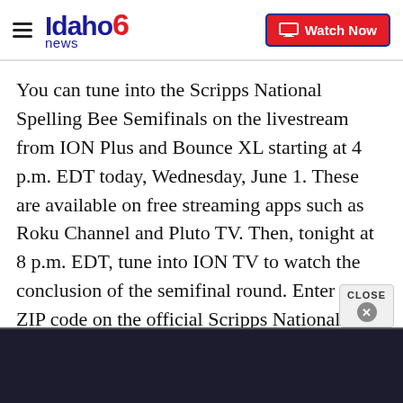Idaho news6 | Watch Now
You can tune into the Scripps National Spelling Bee Semifinals on the livestream from ION Plus and Bounce XL starting at 4 p.m. EDT today, Wednesday, June 1. These are available on free streaming apps such as Roku Channel and Pluto TV. Then, tonight at 8 p.m. EDT, tune into ION TV to watch the conclusion of the semifinal round. Enter your ZIP code on the official Scripps National Spelling Bee website here to find ION on your TV.